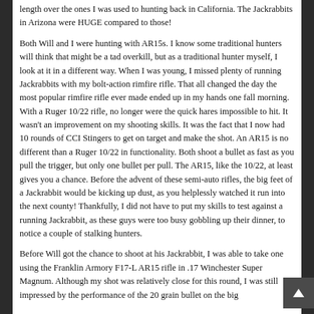length over the ones I was used to hunting back in California.  The Jackrabbits in Arizona were HUGE compared to those!

Both Will and I were hunting with AR15s.  I know some traditional hunters will think that might be a tad overkill, but as a traditional hunter myself, I look at it in a different way.  When I was young, I missed plenty of running Jackrabbits with my bolt-action rimfire rifle.  That all changed the day the most popular rimfire rifle ever made ended up in my hands one fall morning.  With a Ruger 10/22 rifle, no longer were the quick hares impossible to hit.  It wasn't an improvement on my shooting skills.  It was the fact that I now had 10 rounds of CCI Stingers to get on target and make the shot.  An AR15 is no different than a Ruger 10/22 in functionality.  Both shoot a bullet as fast as you pull the trigger, but only one bullet per pull.  The AR15, like the 10/22, at least gives you a chance.  Before the advent of these semi-auto rifles, the big feet of a Jackrabbit would be kicking up dust, as you helplessly watched it run into the next county!  Thankfully, I did not have to put my skills to test against a running Jackrabbit, as these guys were too busy gobbling up their dinner, to notice a couple of stalking hunters.

Before Will got the chance to shoot at his Jackrabbit, I was able to take one using the Franklin Armory F17-L AR15 rifle in .17 Winchester Super Magnum.  Although my shot was relatively close for this round, I was still impressed by the performance of the 20 grain bullet on the big